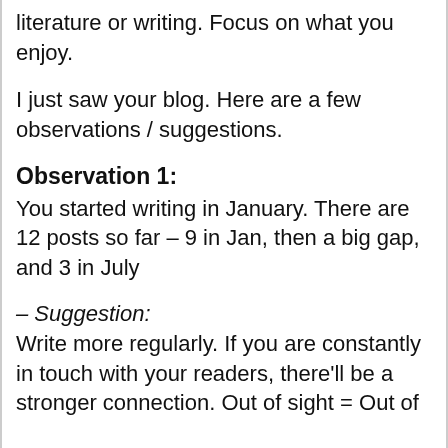literature or writing. Focus on what you enjoy.
I just saw your blog. Here are a few observations / suggestions.
Observation 1:
You started writing in January. There are 12 posts so far – 9 in Jan, then a big gap, and 3 in July
– Suggestion:
Write more regularly. If you are constantly in touch with your readers, there'll be a stronger connection. Out of sight = Out of